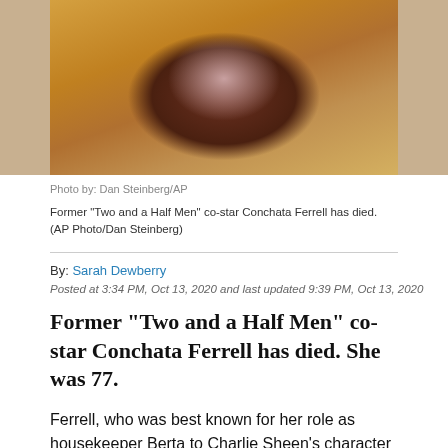[Figure (photo): Photo of Conchata Ferrell wearing an orange/golden coat against a blurred background]
Photo by: Dan Steinberg/AP
Former "Two and a Half Men" co-star Conchata Ferrell has died. (AP Photo/Dan Steinberg)
By: Sarah Dewberry
Posted at 3:34 PM, Oct 13, 2020 and last updated 9:39 PM, Oct 13, 2020
Former "Two and a Half Men" co-star Conchata Ferrell has died. She was 77.
Ferrell, who was best known for her role as housekeeper Berta to Charlie Sheen's character on the